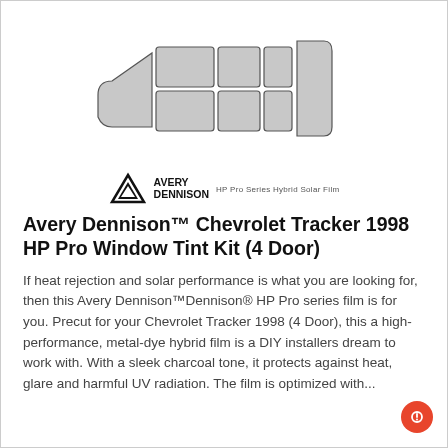[Figure (illustration): Diagram of car window tint kit pieces laid out flat, showing various window panel shapes in light grey with dark outlines, representing the precut tint pieces for a 4-door vehicle. Below the diagram is the Avery Dennison logo with triangle emblem and the text 'HP Pro Series Hybrid Solar Film'.]
Avery Dennison™ Chevrolet Tracker 1998 HP Pro Window Tint Kit (4 Door)
If heat rejection and solar performance is what you are looking for, then this Avery Dennison™Dennison® HP Pro series film is for you. Precut for your Chevrolet Tracker 1998 (4 Door), this a high-performance, metal-dye hybrid film is a DIY installers dream to work with. With a sleek charcoal tone, it protects against heat, glare and harmful UV radiation. The film is optimized with...